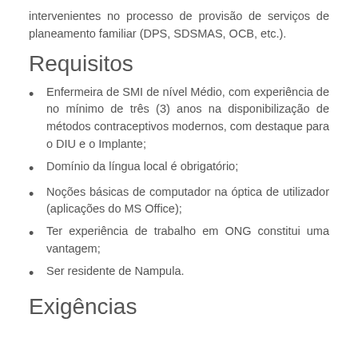intervenientes no processo de provisão de serviços de planeamento familiar (DPS, SDSMAS, OCB, etc.).
Requisitos
Enfermeira de SMI de nível Médio, com experiência de no mínimo de três (3) anos na disponibilização de métodos contraceptivos modernos, com destaque para o DIU e o Implante;
Domínio da língua local é obrigatório;
Noções básicas de computador na óptica de utilizador (aplicações do MS Office);
Ter experiência de trabalho em ONG constitui uma vantagem;
Ser residente de Nampula.
Exigências